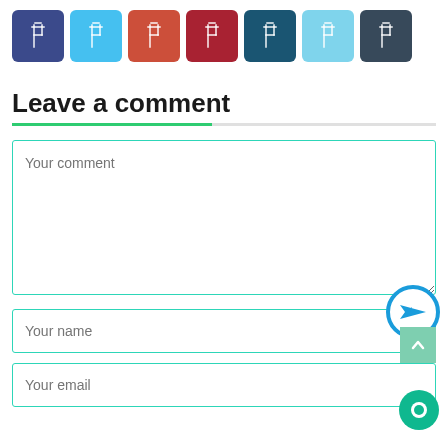[Figure (infographic): Row of 7 social media share buttons in colored square icons: dark blue (Facebook), light blue (Twitter), orange-red (Google+), dark red, dark teal (LinkedIn), light blue, dark slate]
Leave a comment
[Figure (screenshot): Comment form with textarea labeled 'Your comment', input field labeled 'Your name' with a circular send button, and input field labeled 'Your email' with scroll-to-top and chat bubble buttons]